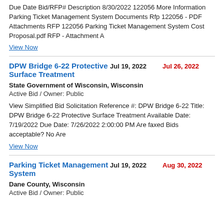Due Date Bid/RFP# Description 8/30/2022 122056 More Information Parking Ticket Management System Documents Rfp 122056 - PDF Attachments RFP 122056 Parking Ticket Management System Cost Proposal.pdf RFP - Attachment A
View Now
DPW Bridge 6-22 Protective Surface Treatment | Jul 19, 2022 | Jul 26, 2022
State Government of Wisconsin, Wisconsin
Active Bid / Owner: Public
View Simplified Bid Solicitation Reference #: DPW Bridge 6-22 Title: DPW Bridge 6-22 Protective Surface Treatment Available Date: 7/19/2022 Due Date: 7/26/2022 2:00:00 PM Are faxed Bids acceptable? No Are
View Now
Parking Ticket Management System | Jul 19, 2022 | Aug 30, 2022
Dane County, Wisconsin
Active Bid / Owner: Public